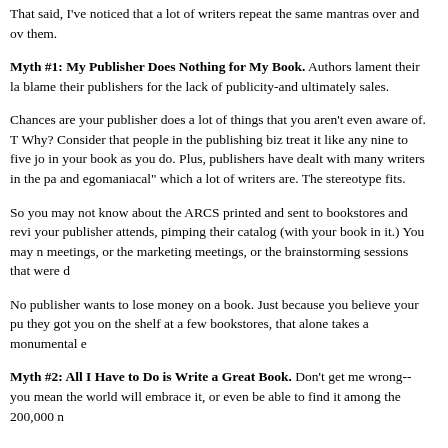That said, I've noticed that a lot of writers repeat the same mantras over and over and over. I'm tired of hearing them.
Myth #1: My Publisher Does Nothing for My Book. Authors lament their lack of publicity and blame their publishers for the lack of publicity-and ultimately sales.
Chances are your publisher does a lot of things that you aren't even aware of. They just don't tell you. Why? Consider that people in the publishing biz treat it like any nine to five job, they aren't as emotionally invested in your book as you do. Plus, publishers have dealt with many writers in the past who they consider "neurotic and egomaniacal" which a lot of writers are. The stereotype fits.
So you may not know about the ARCS printed and sent to bookstores and reviewers, or the trade shows your publisher attends, pimping their catalog (with your book in it.) You may not be invited to sales meetings, or the marketing meetings, or the brainstorming sessions that were done on your behalf.
No publisher wants to lose money on a book. Just because you believe your publisher did nothing, they got you on the shelf at a few bookstores, that alone takes a monumental effort.
Myth #2: All I Have to Do is Write a Great Book. Don't get me wrong--you need a great book, but that doesn't mean the world will embrace it, or even be able to find it among the 200,000 new titles published each year.